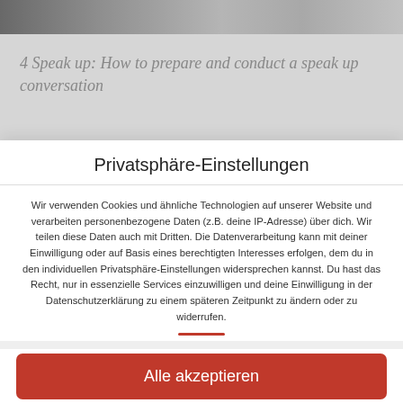[Figure (screenshot): Blurred background showing a partially visible webpage with an article image strip and italic heading text reading '4 Speak up: How to prepare and conduct a speak up conversation']
Privatsphäre-Einstellungen
Wir verwenden Cookies und ähnliche Technologien auf unserer Website und verarbeiten personenbezogene Daten (z.B. deine IP-Adresse) über dich. Wir teilen diese Daten auch mit Dritten. Die Datenverarbeitung kann mit deiner Einwilligung oder auf Basis eines berechtigten Interesses erfolgen, dem du in den individuellen Privatsphäre-Einstellungen widersprechen kannst. Du hast das Recht, nur in essenzielle Services einzuwilligen und deine Einwilligung in der Datenschutzerklärung zu einem späteren Zeitpunkt zu ändern oder zu widerrufen.
Alle akzeptieren
Ablehnen
Individuelle Privatsphäre-Einstellungen